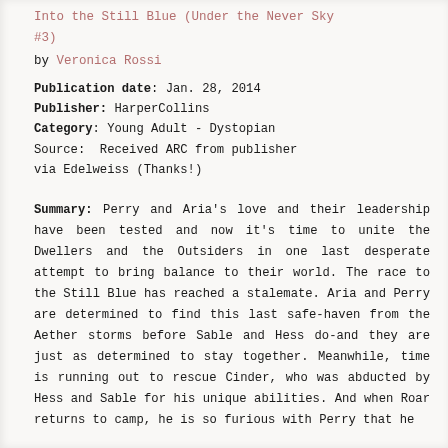Into the Still Blue (Under the Never Sky #3) by Veronica Rossi
Publication date: Jan. 28, 2014
Publisher: HarperCollins
Category: Young Adult - Dystopian
Source: Received ARC from publisher via Edelweiss (Thanks!)
Summary: Perry and Aria's love and their leadership have been tested and now it's time to unite the Dwellers and the Outsiders in one last desperate attempt to bring balance to their world. The race to the Still Blue has reached a stalemate. Aria and Perry are determined to find this last safe-haven from the Aether storms before Sable and Hess do-and they are just as determined to stay together. Meanwhile, time is running out to rescue Cinder, who was abducted by Hess and Sable for his unique abilities. And when Roar returns to camp, he is so furious with Perry that he